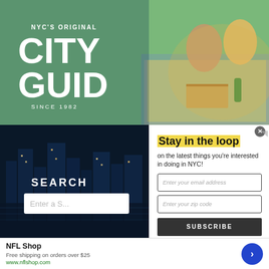[Figure (photo): Two people sitting on a picnic blanket in a park eating pizza and drinking]
NYC'S ORIGINAL CITY GUIDE SINCE 1982
[Figure (photo): NYC skyline at night reflected on water, dark blue tones]
SEARCH
Enter a S...
Sightseeing/T...
Stay in the loop
on the latest things you're interested in doing in NYC!
Enter your email address
Enter your zip code
SUBSCRIBE
NFL Shop
Free shipping on orders over $25
www.nflshop.com